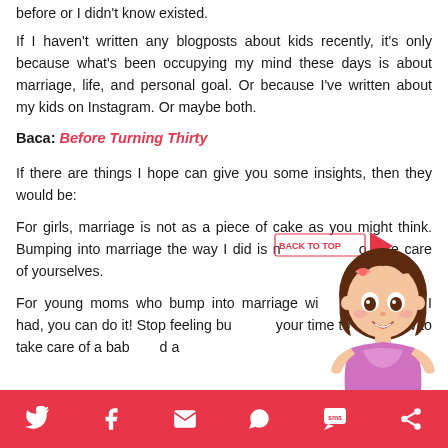before or I didn't know existed.
If I haven't written any blogposts about kids recently, it's only because what's been occupying my mind these days is about marriage, life, and personal goal. Or because I've written about my kids on Instagram. Or maybe both.
Baca: Before Turning Thirty
If there are things I hope can give you some insights, then they would be:
For girls, marriage is not as a piece of cake as you might think. Bumping into marriage the way I did is not ideal, so take care of yourselves.
For young moms who bump into marriage with the same reason I had, you can do it! Stop feeling bu... your time to learn how to take care of a bab...id a
[Figure (illustration): Cartoon chibi girl avatar with brown hair, pink dress, overlaid with a back-to-top button with red arrow]
Social share bar with Twitter, Facebook, Email, WhatsApp, SMS, and another icon